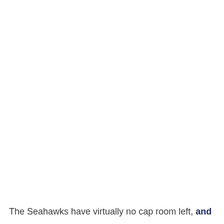The Seahawks have virtually no cap room left, and